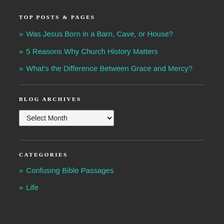TOP POSTS & PAGES
» Was Jesus Born in a Barn, Cave, or House?
» 5 Reasons Why Church History Matters
» What's the Difference Between Grace and Mercy?
BLOG ARCHIVES
[Figure (other): Dropdown select box with 'Select Month' option]
CATEGORIES
» Confusing Bible Passages
» Life